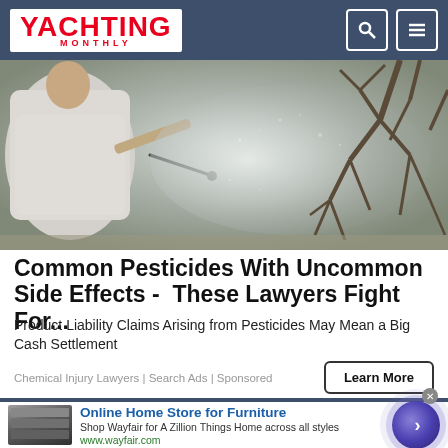YACHTING MONTHLY
[Figure (photo): Person spraying pesticide on bare tree branches, viewed from behind]
Common Pesticides With Uncommon Side Effects - These Lawyers Fight For...
Product Liability Claims Arising from Pesticides May Mean a Big Cash Settlement
Chemical Injury Lawyers | Search Ads | Sponsored
[Figure (screenshot): Wayfair advertisement banner: Online Home Store for Furniture. Shop Wayfair for A Zillion Things Home across all styles. www.wayfair.com]